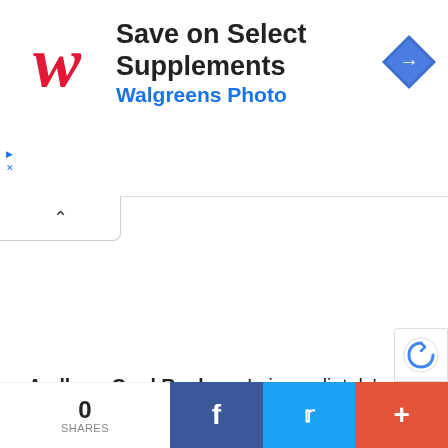[Figure (screenshot): Walgreens advertisement banner: 'Save on Select Supplements' with Walgreens Photo subtitle and navigation arrow icon]
Aadhaar Card Replace: In immediately's digital period, Aadhaar card is used as a necessary and essential doc for id. Aadhaar card is required to hold out a lot of operations together with opening a checking account or investing in a authorities scheme or availing nationwide schemes. Those that are
[Figure (screenshot): Bottom social sharing bar with 0 SHARES count, Facebook button, Twitter button, and plus button]